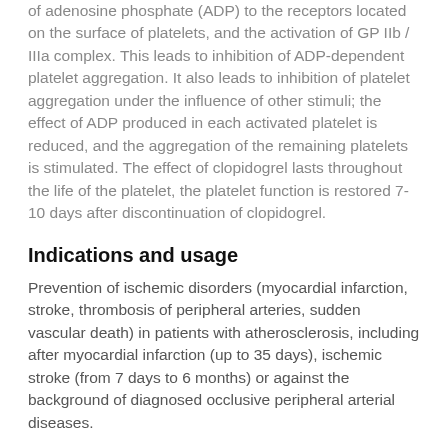of adenosine phosphate (ADP) to the receptors located on the surface of platelets, and the activation of GP IIb / IIIa complex. This leads to inhibition of ADP-dependent platelet aggregation. It also leads to inhibition of platelet aggregation under the influence of other stimuli; the effect of ADP produced in each activated platelet is reduced, and the aggregation of the remaining platelets is stimulated. The effect of clopidogrel lasts throughout the life of the platelet, the platelet function is restored 7-10 days after discontinuation of clopidogrel.
Indications and usage
Prevention of ischemic disorders (myocardial infarction, stroke, thrombosis of peripheral arteries, sudden vascular death) in patients with atherosclerosis, including after myocardial infarction (up to 35 days), ischemic stroke (from 7 days to 6 months) or against the background of diagnosed occlusive peripheral arterial diseases.
Contraindications